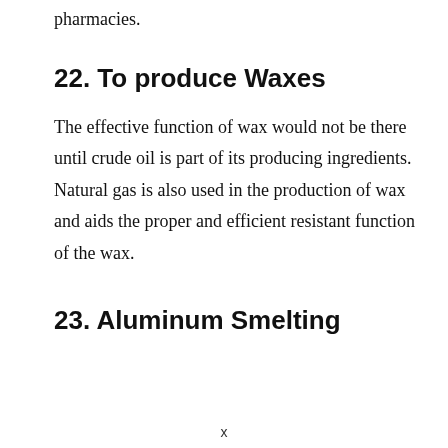pharmacies.
22. To produce Waxes
The effective function of wax would not be there until crude oil is part of its producing ingredients. Natural gas is also used in the production of wax and aids the proper and efficient resistant function of the wax.
23. Aluminum Smelting
x